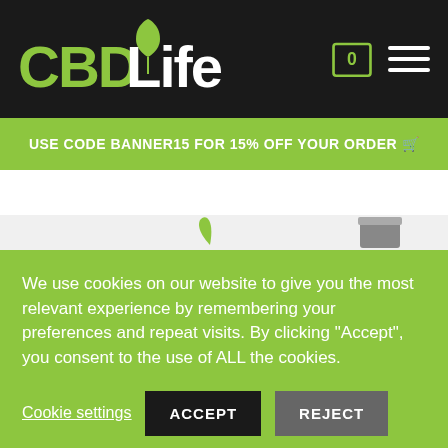[Figure (logo): CBDLife logo with green leaf icon on dark background header]
USE CODE BANNER15 FOR 15% OFF YOUR ORDER 🛒
[Figure (photo): Partially visible product images behind cookie consent overlay]
We use cookies on our website to give you the most relevant experience by remembering your preferences and repeat visits. By clicking "Accept", you consent to the use of ALL the cookies.
Cookie settings  ACCEPT  REJECT